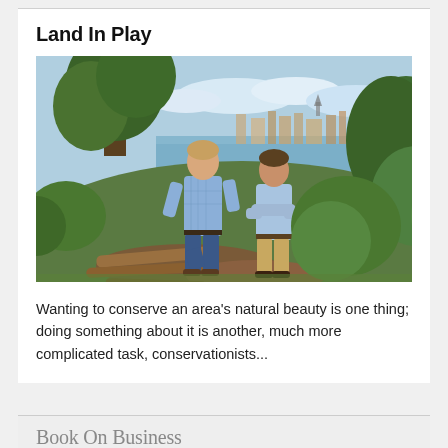Land In Play
[Figure (photo): Two men standing outdoors on a wooded hillside near a river or waterway, with a town visible in the background. The man on the left is taller, wearing a blue plaid shirt and jeans. The man on the right has his arms crossed, wearing a light blue shirt and khaki pants. Lush green vegetation and logs surround them.]
Wanting to conserve an area's natural beauty is one thing; doing something about it is another, much more complicated task, conservationists...
Book On Business